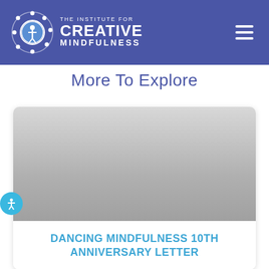The Institute for Creative Mindfulness
More To Explore
[Figure (photo): A card with a gray placeholder image area (likely a photo) and a heading below it]
DANCING MINDFULNESS 10TH ANNIVERSARY LETTER